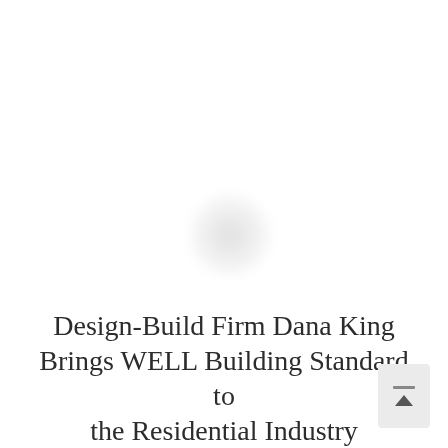[Figure (photo): Large white/blank image area with a faint blurred circular light shape in the center-lower portion, suggesting a partially loaded or faded photograph.]
Design-Build Firm Dana King Brings WELL Building Standard to the Residential Industry